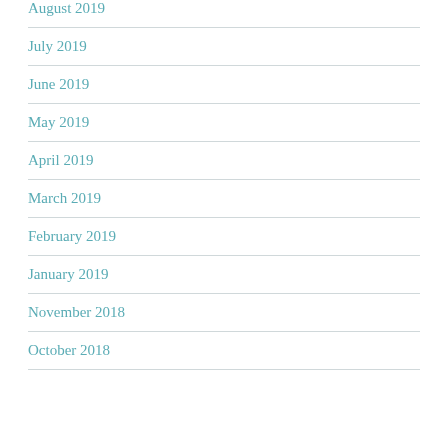August 2019
July 2019
June 2019
May 2019
April 2019
March 2019
February 2019
January 2019
November 2018
October 2018